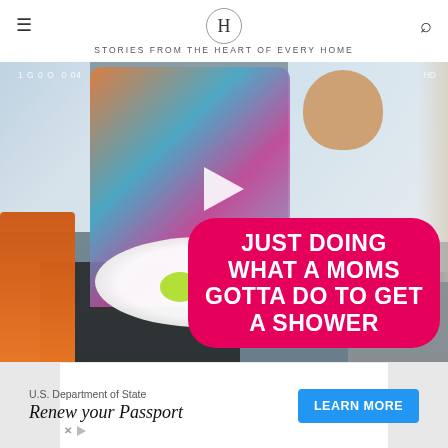H — STORIES FROM THE HEART OF EVERY HOME
[Figure (screenshot): Video thumbnail showing a mother with a baby in a walker/high chair in a home living room. A large pink speech bubble overlay reads 'JUST DOING WHAT A MOMS GOTTA DO TO GET A SHOWER' in white bold caps. A play button is visible in the center. Timestamp visible in top left.]
[Figure (screenshot): Advertisement banner for U.S. Department of State: 'Renew your Passport' with a blue 'LEARN MORE' button.]